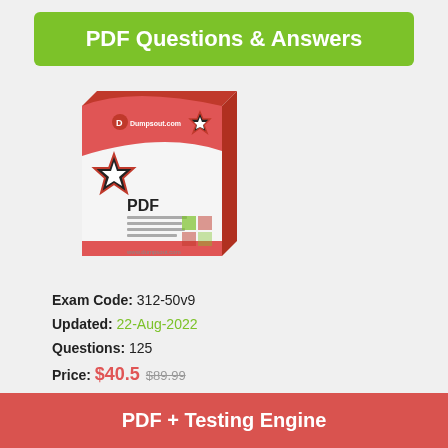PDF Questions & Answers
[Figure (illustration): Product box illustration for PDF exam dumps with Dumpsout.com branding, red and white color scheme, showing a 3D box with star badge and PDF label]
Exam Code: 312-50v9
Updated: 22-Aug-2022
Questions: 125
Price: $40.5 $89.99
Add to Cart
PDF + Testing Engine